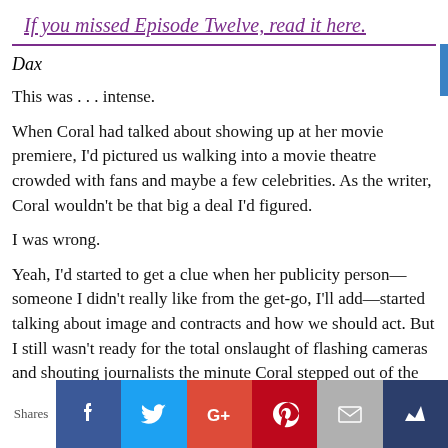If you missed Episode Twelve, read it here.
Dax
This was . . . intense.
When Coral had talked about showing up at her movie premiere, I'd pictured us walking into a movie theatre crowded with fans and maybe a few celebrities. As the writer, Coral wouldn't be that big a deal I'd figured.
I was wrong.
Yeah, I'd started to get a clue when her publicity person—someone I didn't really like from the get-go, I'll add—started talking about image and contracts and how we should act. But I still wasn't ready for the total onslaught of flashing cameras and shouting journalists the minute Coral stepped out of the limo.
“Coral! Over here!”
Shares [social share icons: Facebook, Twitter, Google+, Pinterest, Email, Crown]